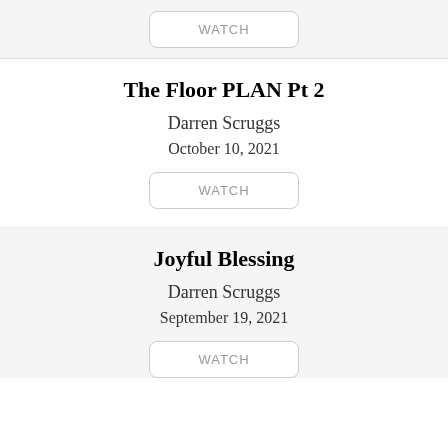[Figure (other): WATCH button at top in gray background section]
The Floor PLAN Pt 2
Darren Scruggs
October 10, 2021
[Figure (other): WATCH button for The Floor PLAN Pt 2]
Joyful Blessing
Darren Scruggs
September 19, 2021
[Figure (other): WATCH button for Joyful Blessing]